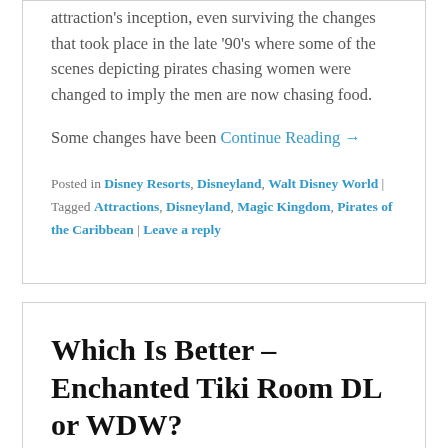attraction's inception, even surviving the changes that took place in the late '90's where some of the scenes depicting pirates chasing women were changed to imply the men are now chasing food.
Some changes have been Continue Reading →
Posted in Disney Resorts, Disneyland, Walt Disney World | Tagged Attractions, Disneyland, Magic Kingdom, Pirates of the Caribbean | Leave a reply
Which Is Better – Enchanted Tiki Room DL or WDW?